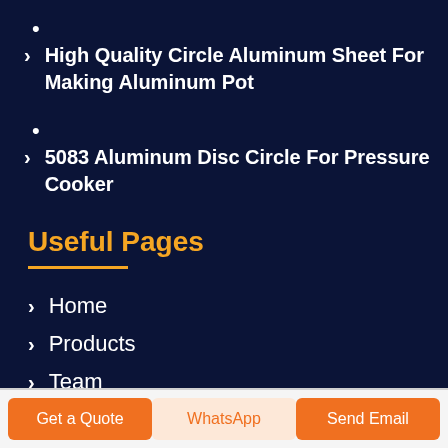•
> High Quality Circle Aluminum Sheet For Making Aluminum Pot
•
> 5083 Aluminum Disc Circle For Pressure Cooker
Useful Pages
> Home
> Products
> Team
> Service
Get a Quote | WhatsApp | Send Email